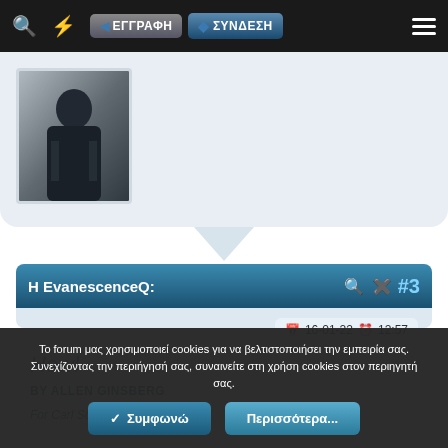Εγγραφη | Συνδεση
[Figure (photo): Profile photo thumbnail showing a person in dark clothing]
Η EvanescenceQ: #3
16-01-22  12:57
Howl
BY ALLEN GINSBERG
For Carl Solomon
Το forum μας χρησιμοποιεί cookies για να βελτιστοποιήσει την εμπειρία σας. Συνεχίζοντας την περιήγησή σας, συναινείτε στη χρήση cookies στον περιηγητή σας.